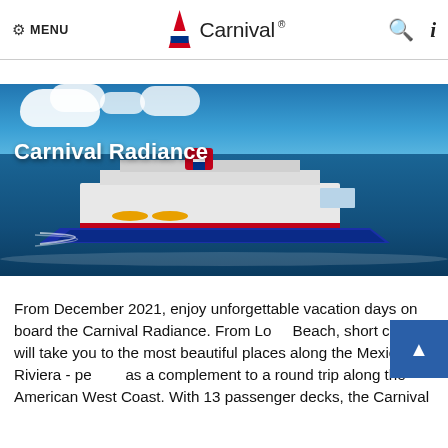MENU  Carnival  [search] [i]
[Figure (photo): Aerial/side view of the Carnival Radiance cruise ship sailing on blue ocean water with sky and clouds in the background. The ship features Carnival's iconic red funnel.]
Carnival Radiance
From December 2021, enjoy unforgettable vacation days on board the Carnival Radiance. From Long Beach, short cruises will take you to the most beautiful places along the Mexican Riviera - perfect as a complement to a round trip along the American West Coast. With 13 passenger decks, the Carnival